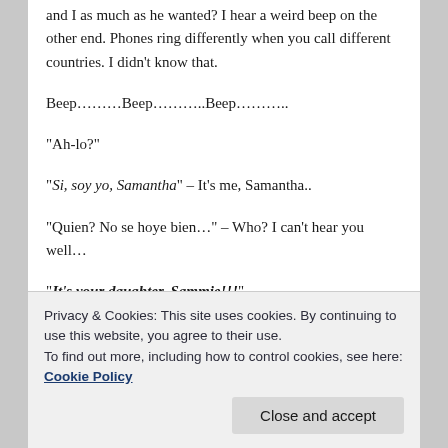and I as much as he wanted?  I hear a weird beep on the other end.  Phones ring differently when you call different countries.  I didn't know that.
Beep………Beep………..Beep………..
“Ah-lo?”
“Si, soy yo, Samantha” – It’s me, Samantha..
“Quien? No se hoye bien…” – Who?  I can’t hear you well…
“It’s your daughter, Sammie!!!”
Privacy & Cookies: This site uses cookies. By continuing to use this website, you agree to their use.
To find out more, including how to control cookies, see here: Cookie Policy